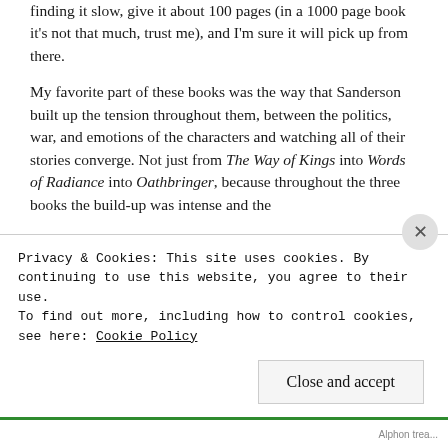finding it slow, give it about 100 pages (in a 1000 page book it's not that much, trust me), and I'm sure it will pick up from there.
My favorite part of these books was the way that Sanderson built up the tension throughout them, between the politics, war, and emotions of the characters and watching all of their stories converge. Not just from The Way of Kings into Words of Radiance into Oathbringer, because throughout the three books the build-up was intense and the
Privacy & Cookies: This site uses cookies. By continuing to use this website, you agree to their use.
To find out more, including how to control cookies, see here: Cookie Policy
Close and accept